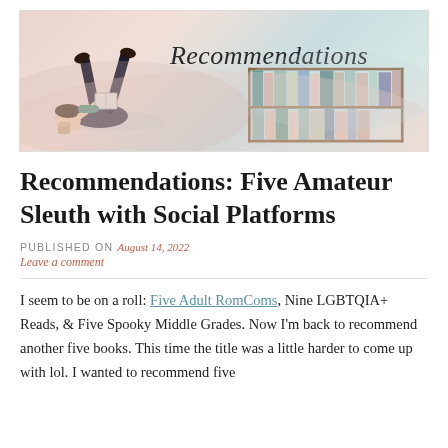[Figure (illustration): Decorative blog header banner showing an illustrated woman lying on the floor reading a book with her legs up, and a bookshelf with colorful books on the right side. The word 'Recommendations' is written in cursive script over the bookshelf.]
Recommendations: Five Amateur Sleuth with Social Platforms
PUBLISHED ON August 14, 2022
Leave a comment
I seem to be on a roll: Five Adult RomComs, Nine LGBTQIA+ Reads, & Five Spooky Middle Grades. Now I'm back to recommend another five books. This time the title was a little harder to come up with lol. I wanted to recommend five